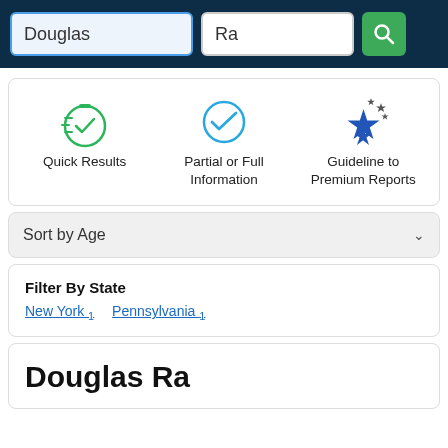[Figure (screenshot): Search bar with two input fields ('Douglas' and 'Ra') and a green search button on a dark navy background]
[Figure (infographic): Three feature icons: Quick Results (green stopwatch with checkmark), Partial or Full Information (blue circle checkmark), Guideline to Premium Reports (blue star with smaller stars)]
Quick Results
Partial or Full Information
Guideline to Premium Reports
Sort by Age
Filter By State
New York 1   Pennsylvania 1
Douglas Ra